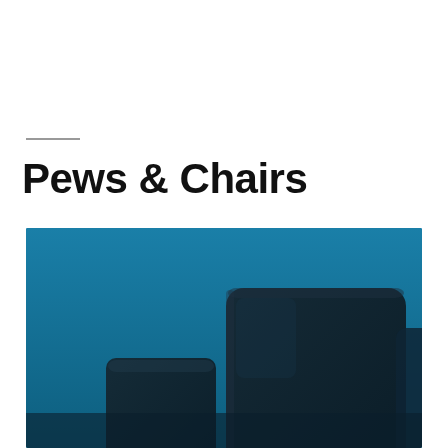Pews & Chairs
[Figure (photo): Photo of dark church/auditorium chairs on a bright blue background, showing two chair backrests from a low angle]